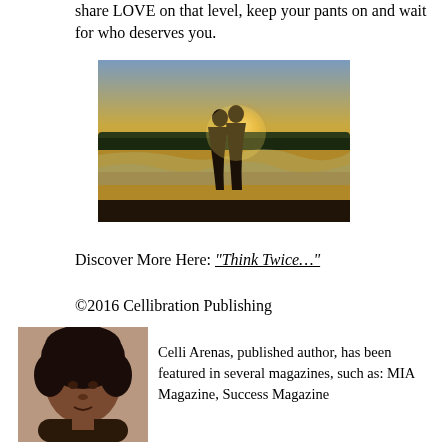share LOVE on that level, keep your pants on and wait for who deserves you.
[Figure (photo): A couple silhouetted against a golden sunset on a beach, waves in the background, embracing each other.]
Discover More Here: “Think Twice…”
©2016 Cellibration Publishing
[Figure (photo): Headshot of Celli Arenas, a Black woman with curly natural hair.]
Celli Arenas, published author, has been featured in several magazines, such as: MIA Magazine, Success Magazine